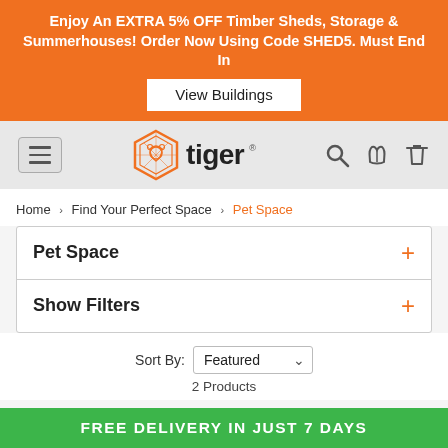Enjoy An EXTRA 5% OFF Timber Sheds, Storage & Summerhouses! Order Now Using Code SHED5. Must End In
View Buildings
[Figure (logo): Tiger brand logo with geometric hexagonal lion head icon and 'tiger' text]
Home > Find Your Perfect Space > Pet Space
Pet Space
Show Filters
Sort By: Featured — 2 Products
FREE DELIVERY IN JUST 7 DAYS